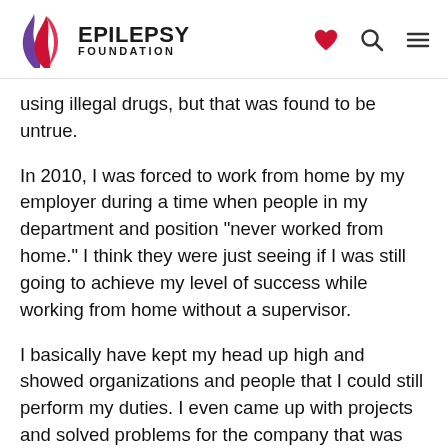EPILEPSY FOUNDATION
using illegal drugs, but that was found to be untrue.
In 2010, I was forced to work from home by my employer during a time when people in my department and position "never worked from home." I think they were just seeing if I was still going to achieve my level of success while working from home without a supervisor.
I basically have kept my head up high and showed organizations and people that I could still perform my duties. I even came up with projects and solved problems for the company that was not even assigned to me. One